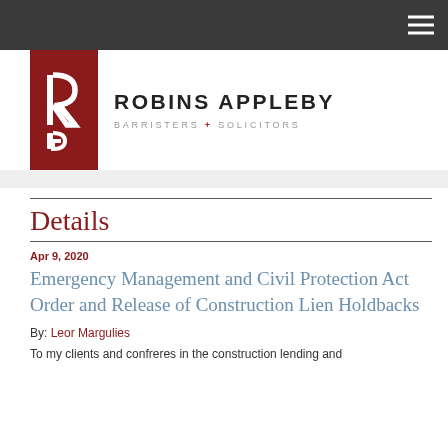[Figure (logo): Robins Appleby law firm logo with red box containing stylized R lettermark and firm name ROBINS APPLEBY BARRISTERS + SOLICITORS]
Details
Apr 9, 2020
Emergency Management and Civil Protection Act Order and Release of Construction Lien Holdbacks
By: Leor Margulies
To my clients and confreres in the construction lending and